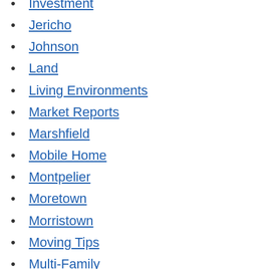Investment
Jericho
Johnson
Land
Living Environments
Market Reports
Marshfield
Mobile Home
Montpelier
Moretown
Morristown
Moving Tips
Multi-Family
Orange
Pall Spera Co
Residential
Resources
Single Family
Stannard